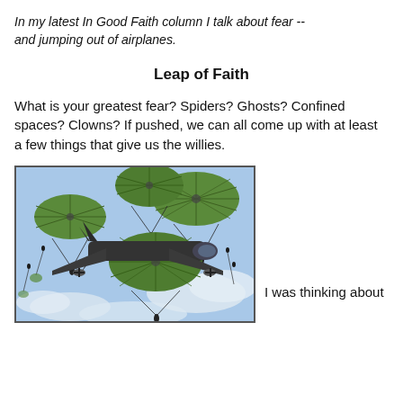In my latest In Good Faith column I talk about fear -- and jumping out of airplanes.
Leap of Faith
What is your greatest fear? Spiders? Ghosts? Confined spaces? Clowns? If pushed, we can all come up with at least a few things that give us the willies.
[Figure (photo): Military transport airplane with multiple green parachutes deployed, paratroopers jumping out against a blue sky with clouds.]
I was thinking about